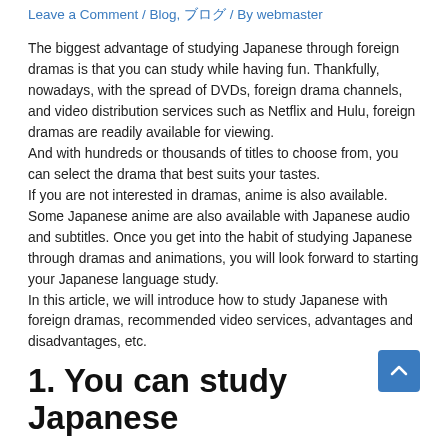Leave a Comment / Blog, ブログ / By webmaster
The biggest advantage of studying Japanese through foreign dramas is that you can study while having fun. Thankfully, nowadays, with the spread of DVDs, foreign drama channels, and video distribution services such as Netflix and Hulu, foreign dramas are readily available for viewing.
And with hundreds or thousands of titles to choose from, you can select the drama that best suits your tastes.
If you are not interested in dramas, anime is also available. Some Japanese anime are also available with Japanese audio and subtitles. Once you get into the habit of studying Japanese through dramas and animations, you will look forward to starting your Japanese language study.
In this article, we will introduce how to study Japanese with foreign dramas, recommended video services, advantages and disadvantages, etc.
1. You can study Japanese